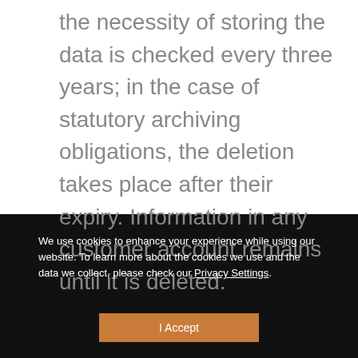the necessity of storing the data is checked every three years; in the case of statutory archiving obligations, the deletion takes place after their expiry. Information in any customer account remains until it is deleted.
We use cookies to enhance your experience while using our website. To learn more about the cookies we use and the data we collect, please check our Privacy Settings.